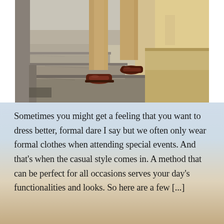[Figure (photo): Close-up photograph of a person's legs in tan/beige trousers and dark brown leather shoes walking up stone steps outdoors]
Sometimes you might get a feeling that you want to dress better, formal dare I say but we often only wear formal clothes when attending special events. And that's when the casual style comes in. A method that can be perfect for all occasions serves your day's functionalities and looks. So here are a few [...]